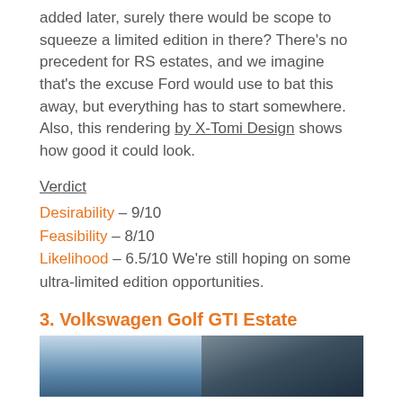added later, surely there would be scope to squeeze a limited edition in there? There's no precedent for RS estates, and we imagine that's the excuse Ford would use to bat this away, but everything has to start somewhere. Also, this rendering by X-Tomi Design shows how good it could look.
Verdict
Desirability – 9/10
Feasibility – 8/10
Likelihood – 6.5/10 We're still hoping on some ultra-limited edition opportunities.
3. Volkswagen Golf GTI Estate
[Figure (photo): Two-panel photo strip showing car images - left panel shows a car against blue sky, right panel shows a dark blue car from above]